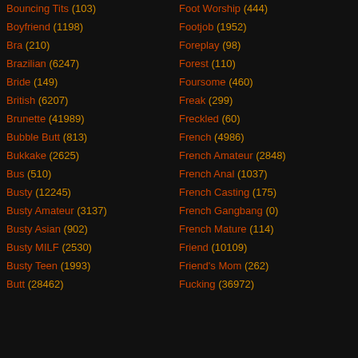Bouncing Tits (103)
Boyfriend (1198)
Bra (210)
Brazilian (6247)
Bride (149)
British (6207)
Brunette (41989)
Bubble Butt (813)
Bukkake (2625)
Bus (510)
Busty (12245)
Busty Amateur (3137)
Busty Asian (902)
Busty MILF (2530)
Busty Teen (1993)
Butt (28462)
Foot Worship (444)
Footjob (1952)
Foreplay (98)
Forest (110)
Foursome (460)
Freak (299)
Freckled (60)
French (4986)
French Amateur (2848)
French Anal (1037)
French Casting (175)
French Gangbang (0)
French Mature (114)
Friend (10109)
Friend's Mom (262)
Fucking (36972)